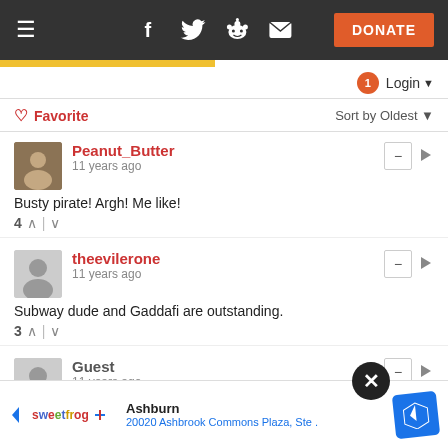Navigation bar with hamburger menu, social icons (Facebook, Twitter, Reddit, Email), and DONATE button
Login ▼
♡ Favorite   Sort by Oldest ▼
Peanut_Butter
11 years ago
Busty pirate!  Argh!  Me like!
4 ↑ | ↓
theevilerone
11 years ago
Subway dude and Gaddafi are outstanding.
3 ↑ | ↓
Guest
11 years ago
nice ph... you
explain... I'm
Ashburn
20020 Ashbrook Commons Plaza, Ste .